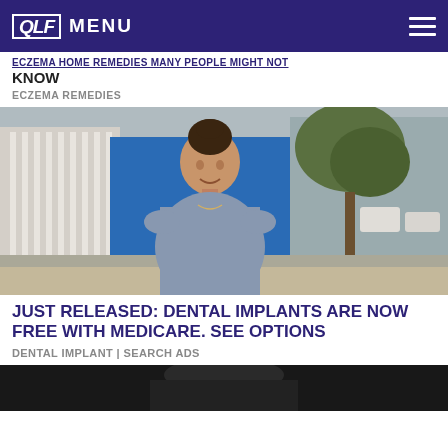QLF MENU
KNOW
ECZEMA REMEDIES
[Figure (photo): A woman in a grey dress smiling outdoors on a street with trees and buildings in the background]
JUST RELEASED: DENTAL IMPLANTS ARE NOW FREE WITH MEDICARE. SEE OPTIONS
DENTAL IMPLANT | SEARCH ADS
[Figure (photo): Partially visible image at the bottom of the page, appears dark]